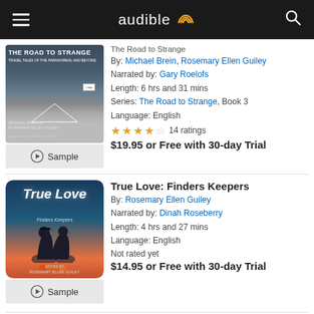audible
[Figure (illustration): Book cover for The Road to Strange]
The Road to Strange
By: Michael Brein, Rosemary Ellen Guiley
Narrated by: Gary Roelofs
Length: 6 hrs and 31 mins
Series: The Road to Strange, Book 3
Language: English
4 stars, 14 ratings
$19.95 or Free with 30-day Trial
[Figure (illustration): Book cover for True Love: Finders Keepers]
True Love: Finders Keepers
By: Rosemary Ellen Guiley
Narrated by: Dinah Roseberry
Length: 4 hrs and 27 mins
Language: English
Not rated yet
$14.95 or Free with 30-day Trial